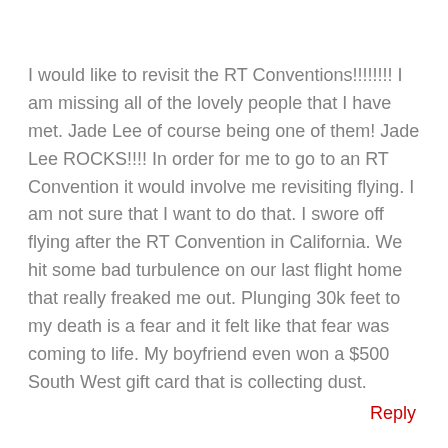I would like to revisit the RT Conventions!!!!!!!! I am missing all of the lovely people that I have met. Jade Lee of course being one of them! Jade Lee ROCKS!!!! In order for me to go to an RT Convention it would involve me revisiting flying. I am not sure that I want to do that. I swore off flying after the RT Convention in California. We hit some bad turbulence on our last flight home that really freaked me out. Plunging 30k feet to my death is a fear and it felt like that fear was coming to life. My boyfriend even won a $500 South West gift card that is collecting dust.
Reply